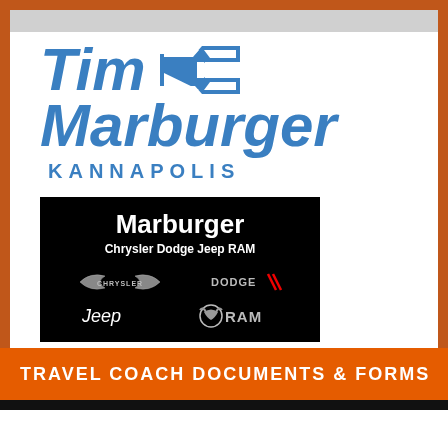[Figure (logo): Tim Marburger Chevrolet Kannapolis logo with blue italic bold text and Chevrolet bowtie emblem]
[Figure (logo): Marburger Chrysler Dodge Jeep RAM dealership logo on black background with brand logos for Chrysler, Dodge, Jeep, and RAM]
TRAVEL COACH DOCUMENTS & FORMS